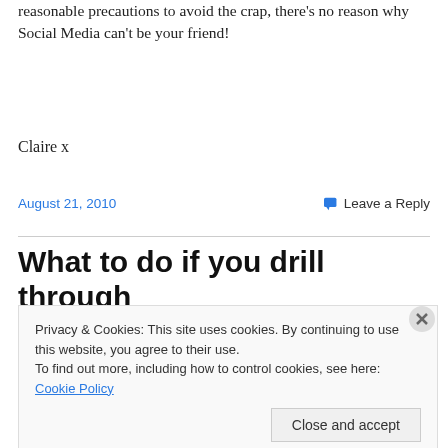reasonable precautions to avoid the crap, there's no reason why Social Media can't be your friend!
Claire x
August 21, 2010
Leave a Reply
What to do if you drill through
Privacy & Cookies: This site uses cookies. By continuing to use this website, you agree to their use.
To find out more, including how to control cookies, see here: Cookie Policy
Close and accept